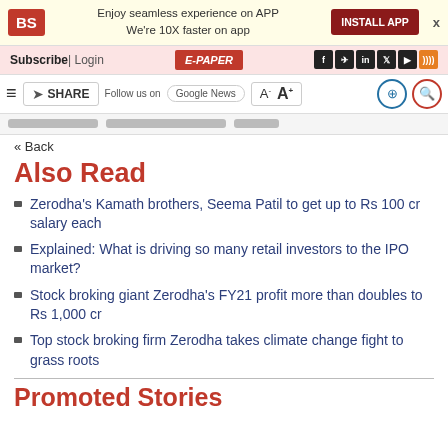BS | Enjoy seamless experience on APP | We're 10X faster on app | INSTALL APP
Subscribe | Login | E-PAPER
SHARE | Follow us on Google News | A- A+
« Back
Also Read
Zerodha's Kamath brothers, Seema Patil to get up to Rs 100 cr salary each
Explained: What is driving so many retail investors to the IPO market?
Stock broking giant Zerodha's FY21 profit more than doubles to Rs 1,000 cr
Top stock broking firm Zerodha takes climate change fight to grass roots
Promoted Stories